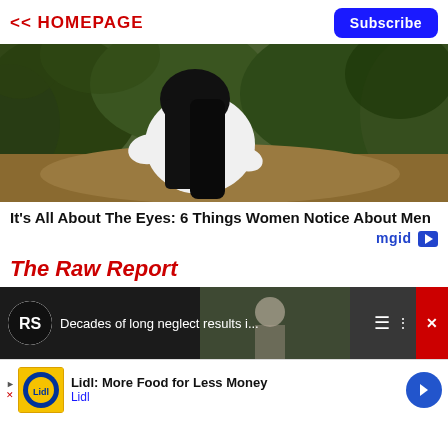<< HOMEPAGE | Subscribe
[Figure (photo): Woman with long dark hair in white top posed outdoors among green bushes]
It's All About The Eyes: 6 Things Women Notice About Men
mgid
The Raw Report
[Figure (screenshot): Video player strip showing RS logo and text: Decades of long neglect results i... with menu icons and red close button]
[Figure (screenshot): Advertisement: Lidl: More Food for Less Money - Lidl logo with navigation arrow]